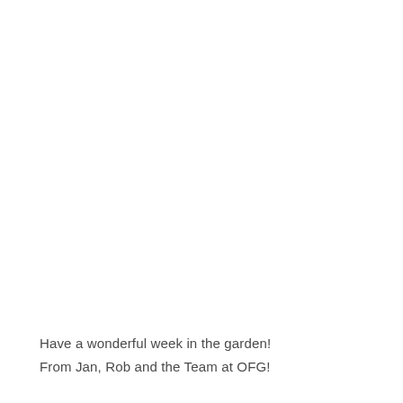Have a wonderful week in the garden!
From Jan, Rob and the Team at OFG!